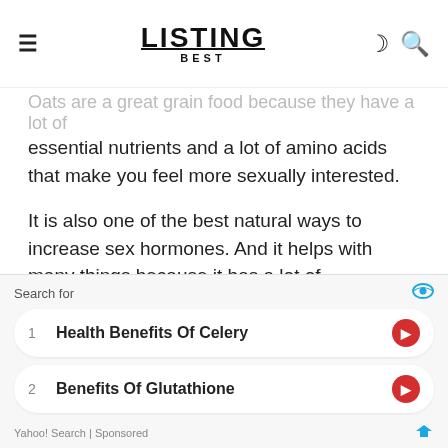LISTING BEST
Oats are a great grain food because they have a lot of essential nutrients and a lot of amino acids that make you feel more sexually interested.
It is also one of the best natural ways to increase sex hormones. And it helps with many things because it has a lot of manganese, which helps.
4: Benefits of oats for muscles
[Figure (photo): Photo of a man's head from behind, showing dark hair, gray background]
Search for
1 Health Benefits Of Celery
2 Benefits Of Glutathione
Yahoo! Search | Sponsored